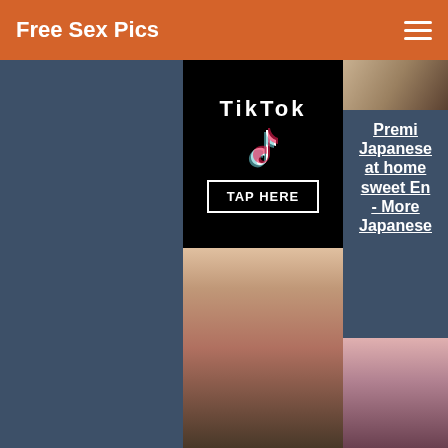Free Sex Pics
[Figure (screenshot): TikTok advertisement with TikTok logo and TAP HERE button]
[Figure (photo): Woman in red bikini top taking selfie]
Premium Japanese at home sweet En- - More Japanese
[Figure (photo): Partial photo of woman in top right]
[Figure (photo): Woman with red hair and tattoo in bottom right]